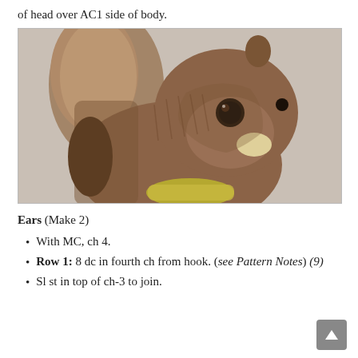of head over AC1 side of body.
[Figure (photo): Close-up photograph of a crocheted squirrel amigurumi toy. The squirrel is made in brown yarn with a large fluffy tail raised up behind it, small ears on top of the head, large black safety eyes, a small yellow/cream nose area, and a yellow/green accent piece at the bottom front. The background is light gray.]
Ears (Make 2)
With MC, ch 4.
Row 1: 8 dc in fourth ch from hook. (see Pattern Notes) (9)
Sl st in top of ch-3 to join.